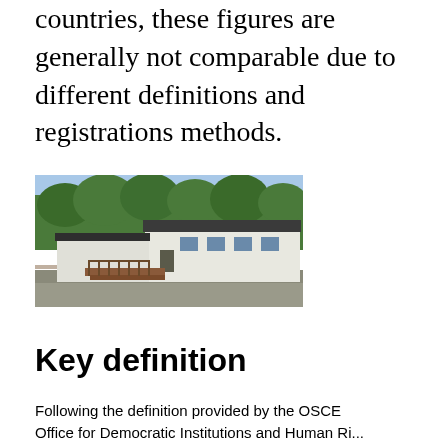countries, these figures are generally not comparable due to different definitions and registrations methods.
[Figure (photo): Exterior photograph of a low white building with a dark roof, surrounded by trees and a parking area. Several windows visible along the front facade.]
Key definition
Following the definition provided by the OSCE Office for Democratic Institutions and Human Ri...